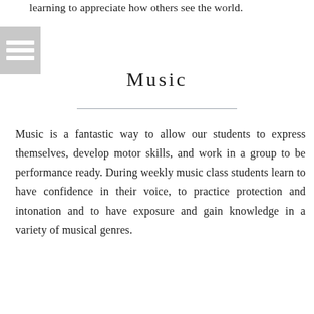learning to appreciate how others see the world.
[Figure (illustration): Gray block icon with three horizontal white lines, resembling a menu or document icon]
Music
Music is a fantastic way to allow our students to express themselves, develop motor skills, and work in a group to be performance ready. During weekly music class students learn to have confidence in their voice, to practice protection and intonation and to have exposure and gain knowledge in a variety of musical genres.